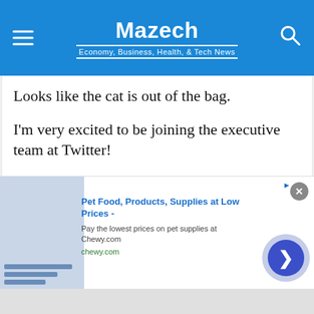Mazech — Economy, Business, Health, & Tech News
Looks like the cat is out of the bag.

I'm very excited to be joining the executive team at Twitter!

I truly believe in the mission of (equitably) serving the public conversation.

I will do my best!
[Figure (screenshot): Quoted tweet by Joseph Menn @josephmenn: Here you go: Twitter names "Mudge" Zatko head of]
[Figure (infographic): Advertisement: Pet Food, Products, Supplies at Low Prices - Pay the lowest prices on pet supplies at Chewy.com | chewy.com]